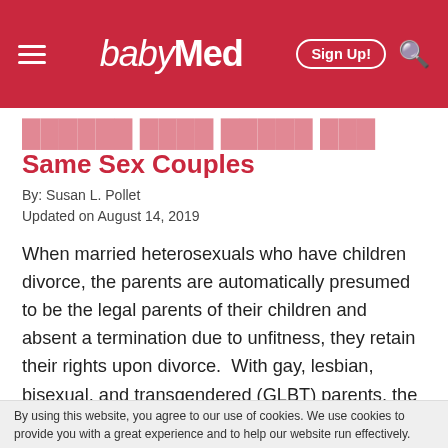babyMed — Sign Up!
Same Sex Couples
By: Susan L. Pollet
Updated on August 14, 2019
When married heterosexuals who have children divorce, the parents are automatically presumed to be the legal parents of their children and absent a termination due to unfitness, they retain their rights upon divorce.  With gay, lesbian, bisexual, and transgendered (GLBT) parents, the rights are less clear.  Only the biological parent of the child in the gay relationship is presumed to be the legal parent, and the non biological parent
By using this website, you agree to our use of cookies. We use cookies to provide you with a great experience and to help our website run effectively.